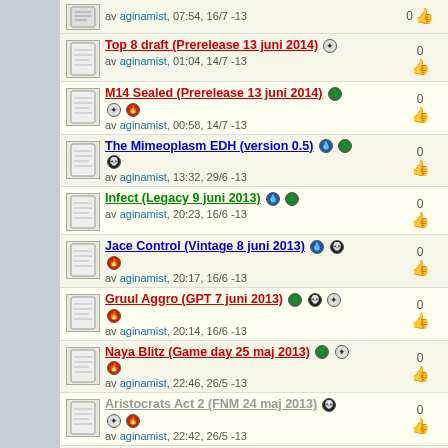av aginamist, 07:54, 16/7 -13 | 0
Top 8 draft (Prerelease 13 juni 2014) | av aginamist, 01:04, 14/7 -13 | 0
M14 Sealed (Prerelease 13 juni 2014) | av aginamist, 00:58, 14/7 -13 | 0
The Mimeoplasm EDH (version 0.5) | av aginamist, 13:32, 29/6 -13 | 0
Infect (Legacy 9 juni 2013) | av aginamist, 20:23, 16/6 -13 | 0
Jace Control (Vintage 8 juni 2013) | av aginamist, 20:17, 16/6 -13 | 0
Gruul Aggro (GPT 7 juni 2013) | av aginamist, 20:14, 16/6 -13 | 0
Naya Blitz (Game day 25 maj 2013) | av aginamist, 22:46, 26/5 -13 | 0
Aristocrats Act 2 (FNM 24 maj 2013) | av aginamist, 22:42, 26/5 -13 | 0
Ad Nauseam Tendrils (21 maj 2013) | av aginamist, 22:59, 21/5 -13 | 0
UR Storm (Modern 20 maj 2013) | av aginamist, 08:53, 21/5 -13 | 3 | 0
Naya Blitz (FNM 17 maj 2013)